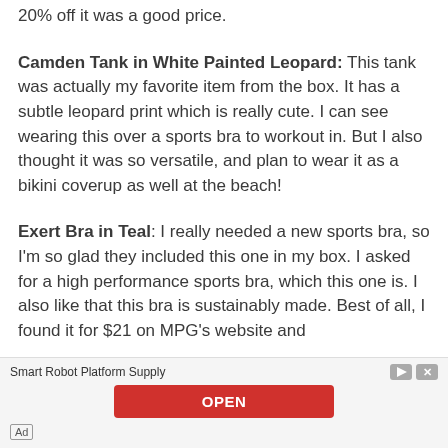20% off it was a good price.
Camden Tank in White Painted Leopard: This tank was actually my favorite item from the box. It has a subtle leopard print which is really cute. I can see wearing this over a sports bra to workout in. But I also thought it was so versatile, and plan to wear it as a bikini coverup as well at the beach!
Exert Bra in Teal: I really needed a new sports bra, so I'm so glad they included this one in my box. I asked for a high performance sports bra, which this one is. I also like that this bra is sustainably made. Best of all, I found it for $21 on MPG's website and
[Figure (infographic): Advertisement banner: Smart Robot Platform Supply with a red OPEN button and Ad label]